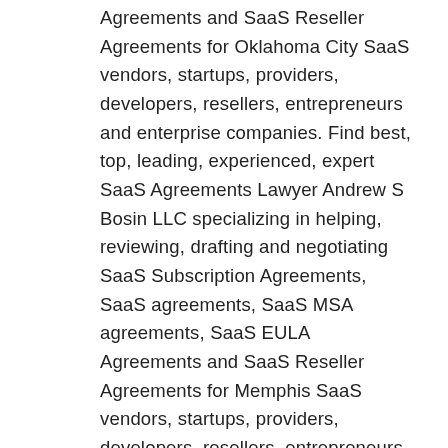Agreements and SaaS Reseller Agreements for Oklahoma City SaaS vendors, startups, providers, developers, resellers, entrepreneurs and enterprise companies. Find best, top, leading, experienced, expert SaaS Agreements Lawyer Andrew S Bosin LLC specializing in helping, reviewing, drafting and negotiating SaaS Subscription Agreements, SaaS agreements, SaaS MSA agreements, SaaS EULA Agreements and SaaS Reseller Agreements for Memphis SaaS vendors, startups, providers, developers, resellers, entrepreneurs and enterprise companies. Find best, top, leading, experienced, expert SaaS Agreements Lawyer Andrew S Bosin LLC specializing in helping, reviewing, drafting and negotiating SaaS Subscription Agreements, SaaS agreements, SaaS MSA agreements, SaaS EULA Agreements and SaaS Reseller Agreements for New Orleans SaaS vendors, startups, providers, developers, resellers, entrepreneurs and enterprise companies. Find best, top, leading, experienced, expert SaaS Agreements Lawyer Andrew S Bosin LLC